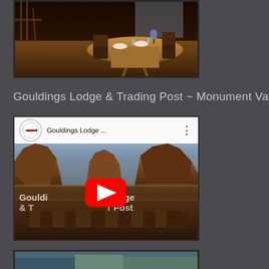[Figure (photo): Indoor dining room photo with wooden table, chairs, and rustic decor at Gouldings Lodge]
Gouldings Lodge & Trading Post ~ Monument Valley
[Figure (screenshot): YouTube video thumbnail for Gouldings Lodge showing Monument Valley buttes with red play button, channel icon, title 'Gouldings Lodge ...' and menu dots]
[Figure (photo): Partial photo at bottom of page, partially cut off, showing outdoor scene]